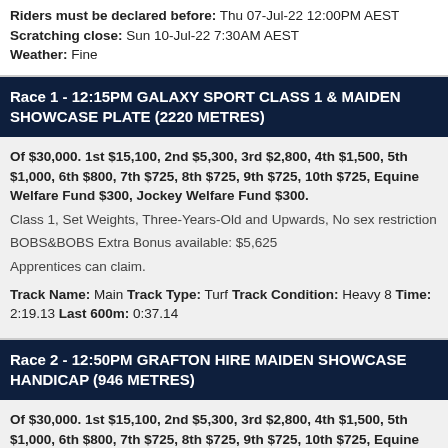Riders must be declared before: Thu 07-Jul-22 12:00PM AEST
Scratching close: Sun 10-Jul-22 7:30AM AEST
Weather: Fine
Race 1 - 12:15PM GALAXY SPORT CLASS 1 & MAIDEN SHOWCASE PLATE (2220 METRES)
Of $30,000. 1st $15,100, 2nd $5,300, 3rd $2,800, 4th $1,500, 5th $1,000, 6th $800, 7th $725, 8th $725, 9th $725, 10th $725, Equine Welfare Fund $300, Jockey Welfare Fund $300.
Class 1, Set Weights, Three-Years-Old and Upwards, No sex restriction
BOBS&BOBS Extra Bonus available: $5,625
Apprentices can claim.
Track Name: Main Track Type: Turf Track Condition: Heavy 8 Time: 2:19.13 Last 600m: 0:37.14
Race 2 - 12:50PM GRAFTON HIRE MAIDEN SHOWCASE HANDICAP (946 METRES)
Of $30,000. 1st $15,100, 2nd $5,300, 3rd $2,800, 4th $1,500, 5th $1,000, 6th $800, 7th $725, 8th $725, 9th $725, 10th $725, Equine Welfare Fund $300, Jockey